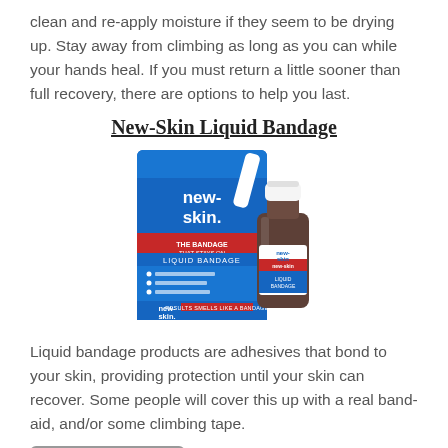clean and re-apply moisture if they seem to be drying up. Stay away from climbing as long as you can while your hands heal. If you must return a little sooner than full recovery, there are options to help you last.
New-Skin Liquid Bandage
[Figure (photo): Photo of New-Skin Liquid Bandage product packaging and bottle]
Liquid bandage products are adhesives that bond to your skin, providing protection until your skin can recover. Some people will cover this up with a real band-aid, and/or some climbing tape.
[Figure (logo): Amazon.com Buy button with amazon logo]